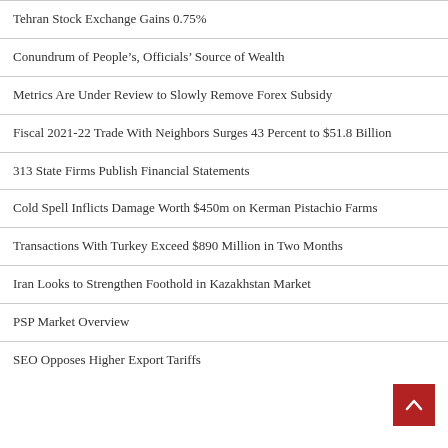Tehran Stock Exchange Gains 0.75%
Conundrum of People’s, Officials’ Source of Wealth
Metrics Are Under Review to Slowly Remove Forex Subsidy
Fiscal 2021-22 Trade With Neighbors Surges 43 Percent to $51.8 Billion
313 State Firms Publish Financial Statements
Cold Spell Inflicts Damage Worth $450m on Kerman Pistachio Farms
Transactions With Turkey Exceed $890 Million in Two Months
Iran Looks to Strengthen Foothold in Kazakhstan Market
PSP Market Overview
SEO Opposes Higher Export Tariffs